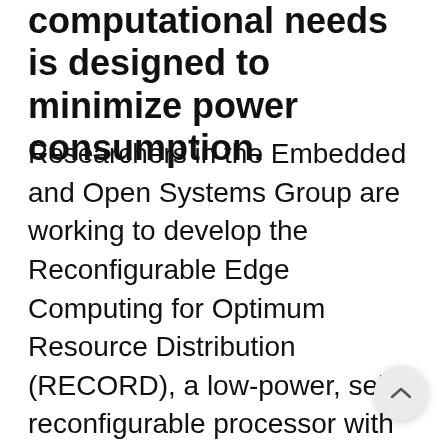computational needs is designed to minimize power consumption.
Researchers in the Embedded and Open Systems Group are working to develop the Reconfigurable Edge Computing for Optimum Resource Distribution (RECORD), a low-power, self-reconfigurable processor with built-in security and trust for identification and classification of subjects of interest, such as objects and voices. We have optimized the processor to self-adapt its resources to the computations needed to process data collected near a sensor (i.e., edge computing). RECORD was designed to provide security and data privacy for interconnected sensor systems, like commercial "smart" devices or U.S. border security systems, while also minimizing compute power.